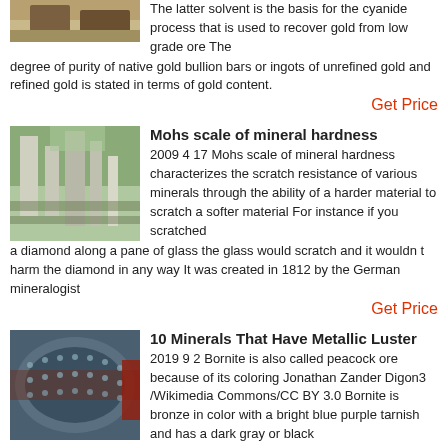[Figure (photo): Partial view of industrial/mining equipment, top of page]
The latter solvent is the basis for the cyanide process that is used to recover gold from low grade ore The degree of purity of native gold bullion bars or ingots of unrefined gold and refined gold is stated in terms of gold content.
Get Price
[Figure (photo): Industrial plant or mining facility with tall structures and mountains in background]
Mohs scale of mineral hardness
2009 4 17 Mohs scale of mineral hardness characterizes the scratch resistance of various minerals through the ability of a harder material to scratch a softer material For instance if you scratched a diamond along a pane of glass the glass would scratch and it wouldn t harm the diamond in any way It was created in 1812 by the German mineralogist
Get Price
[Figure (photo): Large cylindrical industrial equipment (mill or drum) with perforated surface]
10 Minerals That Have Metallic Luster
2019 9 2 Bornite is also called peacock ore because of its coloring Jonathan Zander Digon3 /Wikimedia Commons/CC BY 3.0 Bornite is bronze in color with a bright blue purple tarnish and has a dark gray or black streak This mineral has a hardness of 3
Get Price